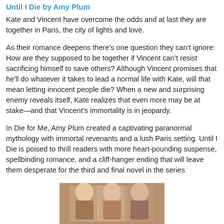Until I Die by Amy Plum
Kate and Vincent have overcome the odds and at last they are together in Paris, the city of lights and love.
As their romance deepens there’s one question they can’t ignore: How are they supposed to be together if Vincent can’t resist sacrificing himself to save others? Although Vincent promises that he’ll do whatever it takes to lead a normal life with Kate, will that mean letting innocent people die? When a new and surprising enemy reveals itself, Kate realizes that even more may be at stake—and that Vincent’s immortality is in jeopardy.
In Die for Me, Amy Plum created a captivating paranormal mythology with immortal revenants and a lush Paris setting. Until I Die is poised to thrill readers with more heart-pounding suspense, spellbinding romance, and a cliff-hanger ending that will leave them desperate for the third and final novel in the series
[Figure (photo): Photo of people, partially visible at bottom of page]